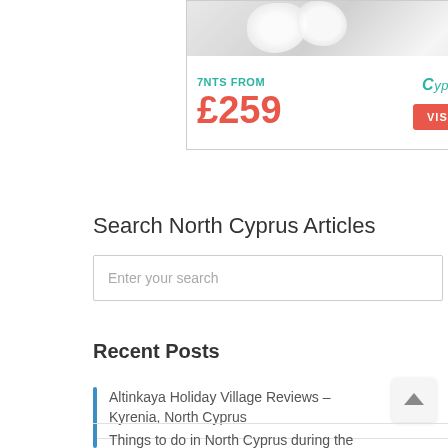[Figure (other): Advertisement banner for Cyprus Paradise holidays: '7NTS FROM £259 VISIT SALE' with an image of white flowers/cotton at the top and Cyprus Paradise logo]
Search North Cyprus Articles
Enter your search
Recent Posts
Altinkaya Holiday Village Reviews – Kyrenia, North Cyprus
Things to do in North Cyprus during the